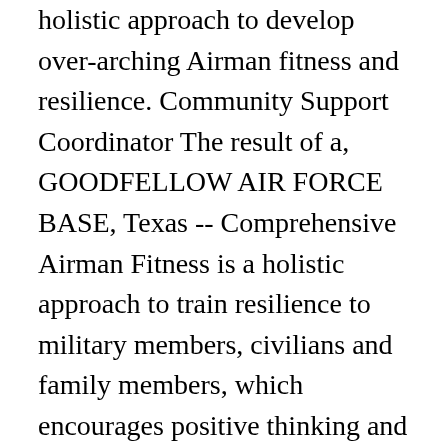holistic approach to develop over-arching Airman fitness and resilience. Community Support Coordinator The result of a, GOODFELLOW AIR FORCE BASE, Texas -- Comprehensive Airman Fitness is a holistic approach to train resilience to military members, civilians and family members, which encourages positive thinking and helps reduce daily stressors. Military Working Dog Rudo and his handler, SSgt Lacey Bockman, 88th Security Forces Squadron, pa.... New about resiliency. When I first heard of the four pillars, I had to ask myself an ... By Senior Airman Aaron J. Jenne, 436th Airlift Wing Public Affairs / Published March 01, 2017. "I think we'll all be a little sad to say farewell to